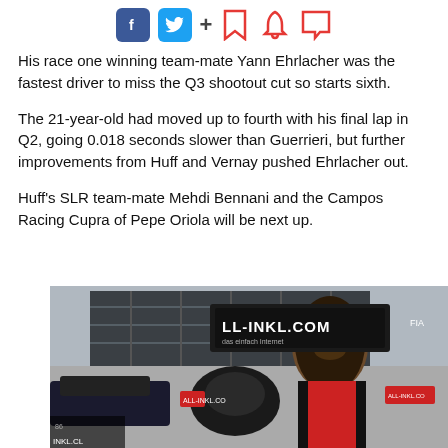[Figure (other): Social media sharing icons: Facebook, Twitter, plus sign, bookmark, bell, and comment icons]
His race one winning team-mate Yann Ehrlacher was the fastest driver to miss the Q3 shootout cut so starts sixth.
The 21-year-old had moved up to fourth with his final lap in Q2, going 0.018 seconds slower than Guerrieri, but further improvements from Huff and Vernay pushed Ehrlacher out.
Huff's SLR team-mate Mehdi Bennani and the Campos Racing Cupra of Pepe Oriola will be next up.
[Figure (photo): Photograph of a racing driver with long dark hair and beard, smiling, standing in a pit lane with an ALL-INKL.COM banner visible in the background and racing cars around him.]